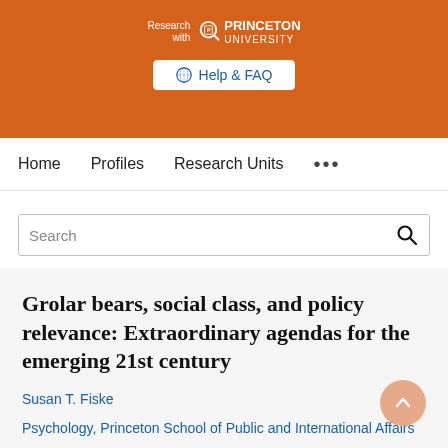[Figure (logo): Princeton University 'Research with Princeton University' logo with magnifying glass icon on orange background]
[Figure (other): Help & FAQ button with globe icon on orange background]
Home   Profiles   Research Units   ...
Search
Grolar bears, social class, and policy relevance: Extraordinary agendas for the emerging 21st century
Susan T. Fiske
Psychology, Princeton School of Public and International Affairs